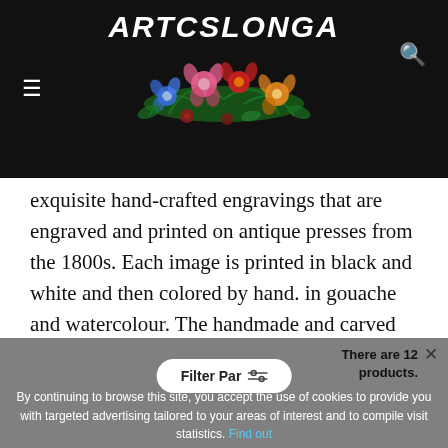[Figure (logo): Arteslonga logo with decorative floral illustration on black header bar with hamburger menu icon and search icon]
exquisite hand-crafted engravings that are engraved and printed on antique presses from the 1800s. Each image is printed in black and white and then colored by hand. in gouache and watercolour. The handmade and carved frame is made of black patinated tulipwood. Wonderful things. Pure escape for toddlers and adults.

The House Arteslonga
[Figure (other): Grey footer bar with cookie consent text and Filter Par button overlay. Text: By continuing to browse this site, you accept the use of cookies to provide you with targeted advertising tailored to your areas of interest and to compile visit statistics. Find out. Also shows There are 12 products badge.]